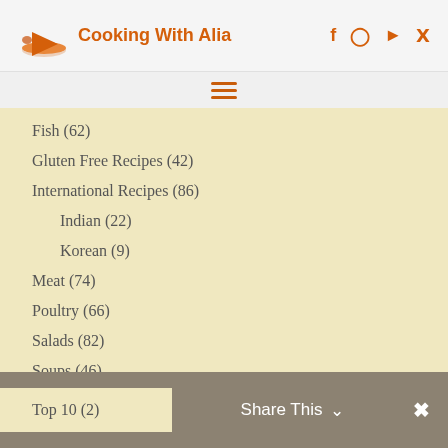Cooking With Alia
Fish (62)
Gluten Free Recipes (42)
International Recipes (86)
Indian (22)
Korean (9)
Meat (74)
Poultry (66)
Salads (82)
Soups (46)
Special (34)
Tips (32)
Top 10 (2)
Share This